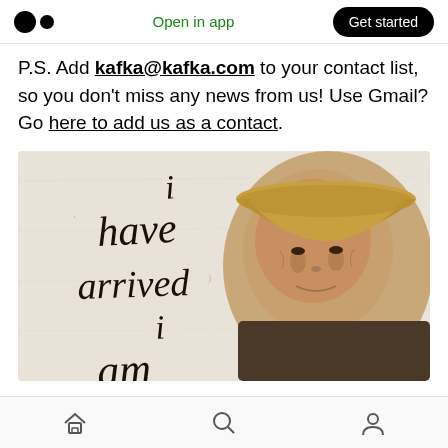Medium app navigation bar with logo, Open in app, Get started button
P.S. Add kafka@kafka.com to your contact list, so you don't miss any news from us! Use Gmail? Go here to add us as a contact.
[Figure (photo): Image showing calligraphic text reading 'i have arrived i am' on a white textured background, alongside a close-up portrait of an elderly Asian Buddhist monk wearing a conical straw hat.]
Mobile bottom navigation bar with home, search, and profile icons